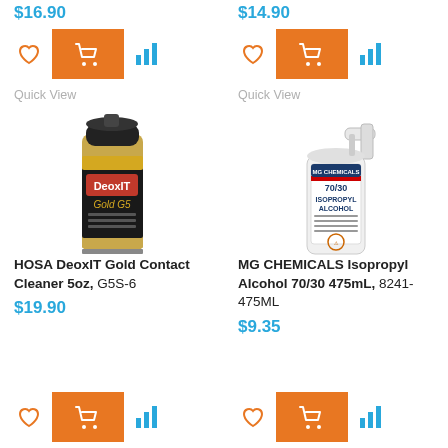$16.90
$14.90
[Figure (photo): HOSA DeoxIT Gold Contact Cleaner spray can, black top, gold label with DeoxIT Gold G5 branding]
[Figure (photo): MG Chemicals Isopropyl Alcohol 70/30 475mL spray bottle, white with trigger sprayer]
Quick View
Quick View
HOSA DeoxIT Gold Contact Cleaner 5oz, G5S-6
MG CHEMICALS Isopropyl Alcohol 70/30 475mL, 8241-475ML
$19.90
$9.35